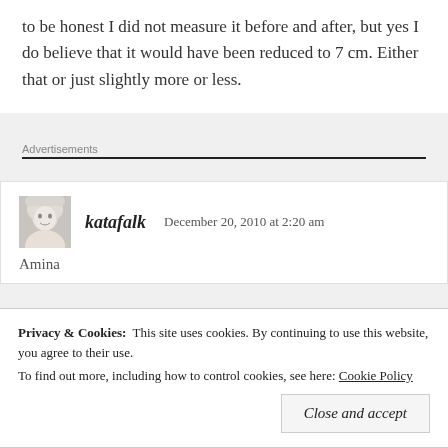to be honest I did not measure it before and after, but yes I do believe that it would have been reduced to 7 cm. Either that or just slightly more or less.
Advertisements
katafalk   December 20, 2010 at 2:20 am
Amina
Privacy & Cookies:  This site uses cookies. By continuing to use this website, you agree to their use.
To find out more, including how to control cookies, see here: Cookie Policy
Close and accept